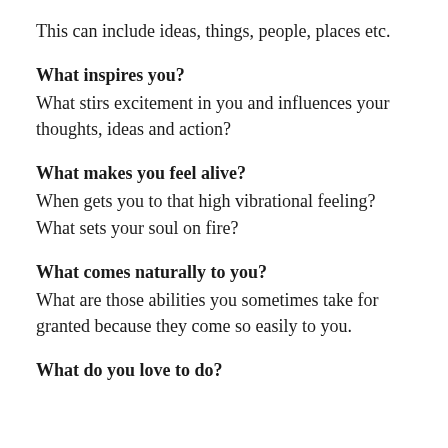This can include ideas, things, people, places etc.
What inspires you?
What stirs excitement in you and influences your thoughts, ideas and action?
What makes you feel alive?
When gets you to that high vibrational feeling? What sets your soul on fire?
What comes naturally to you?
What are those abilities you sometimes take for granted because they come so easily to you.
What do you love to do?